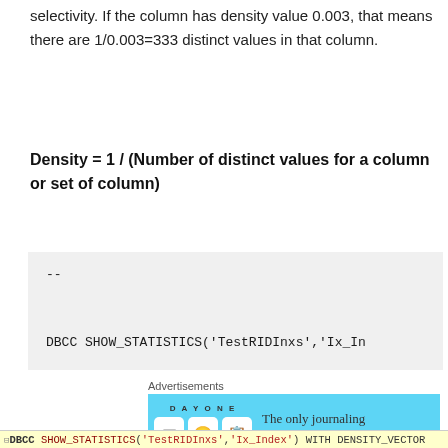selectivity. If the column has density value 0.003, that means there are 1/0.003=333 distinct values in that column.
Density  = 1 / (Number of distinct values for a column or set of column)
--

DBCC SHOW_STATISTICS('TestRIDInxs','Ix_In

--
[Figure (screenshot): Advertisement banner for Day One journaling app with light blue background, app icon images, and text 'The only journaling app you'll ever need.']
DBCC SHOW_STATISTICS('TestRIDInxs','Ix_Index') WITH DENSITY_VECTOR